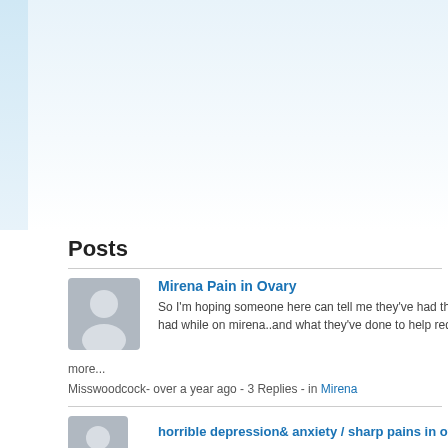Posts
Mirena Pain in Ovary
So I'm hoping someone here can tell me they've had the s...had while on mirena..and what they've done to help reduc...
more...
Misswoodcock- over a year ago - 3 Replies - in Mirena
horrible depression& anxiety / sharp pains in ovary pe...